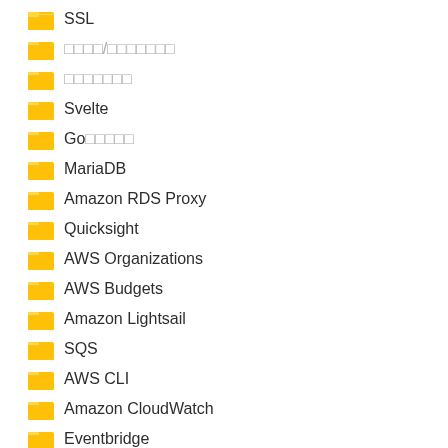SSL
□□□□/□□□□□□□
□□□□□□□
Svelte
Go□□□□□
MariaDB
Amazon RDS Proxy
Quicksight
AWS Organizations
AWS Budgets
Amazon Lightsail
SQS
AWS CLI
Amazon CloudWatch
Eventbridge